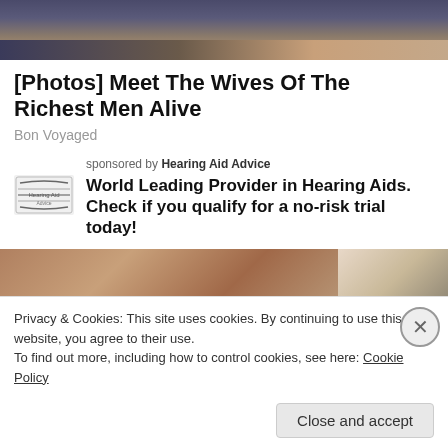[Figure (photo): Top portion of a photo showing two people sitting together on a couch, cropped at the bottom of the frame]
[Photos] Meet The Wives Of The Richest Men Alive
Bon Voyaged
sponsored by Hearing Aid Advice
World Leading Provider in Hearing Aids. Check if you qualify for a no-risk trial today!
[Figure (photo): Two side-by-side photos partially visible: left shows a blurred warm-toned background, right shows a person with light hair]
Privacy & Cookies: This site uses cookies. By continuing to use this website, you agree to their use.
To find out more, including how to control cookies, see here: Cookie Policy
Close and accept